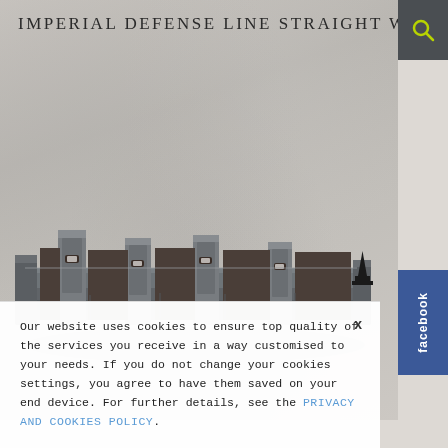IMPERIAL DEFENSE LINE STRAIGHT WALL
[Figure (photo): Product photo of an Imperial Defense Line Straight Wall miniature terrain piece — a long grey concrete-style modular wall with five firing positions/embrasures, set against a textured light grey/concrete background.]
Our website uses cookies to ensure top quality of the services you receive in a way customised to your needs. If you do not change your cookies settings, you agree to have them saved on your end device. For further details, see the PRIVACY AND COOKIES POLICY.